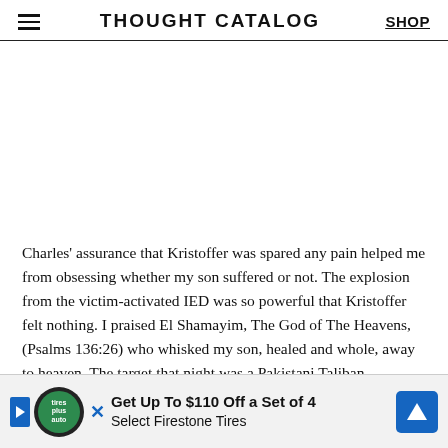THOUGHT CATALOG
Charles’ assurance that Kristoffer was spared any pain helped me from obsessing whether my son suffered or not. The explosion from the victim-activated IED was so powerful that Kristoffer felt nothing. I praised El Shamayim, The God of The Heavens, (Psalms 136:26) who whisked my son, healed and whole, away to heaven. The target that night was a Pakistani Taliban commander with expertise as an IED maker. His booby-trapped compound contained bomb-making supplies, positions to enable to deploy and kill more people, similar to another deplorable IED maker w— guy
[Figure (other): Advertisement banner: Get Up To $110 Off a Set of 4 Select Firestone Tires with Tires Plus auto logo and navigation icon]